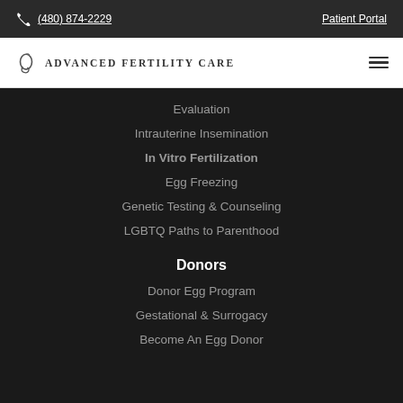(480) 874-2229   Patient Portal
[Figure (logo): Advanced Fertility Care logo with stylized egg/fertility icon and text 'ADVANCED FERTILITY CARE']
Evaluation
Intrauterine Insemination
In Vitro Fertilization
Egg Freezing
Genetic Testing & Counseling
LGBTQ Paths to Parenthood
Donors
Donor Egg Program
Gestational & Surrogacy
Become An Egg Donor